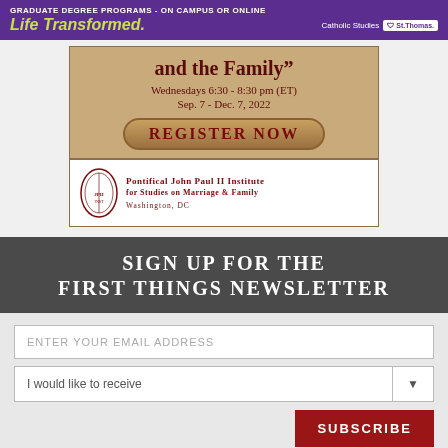[Figure (infographic): University of St. Thomas banner ad: 'GRADUATE DEGREE PROGRAMS - ON CAMPUS OR ONLINE' with 'Life Transformed.' tagline and Catholic Studies / St. Thomas logo on purple background]
[Figure (infographic): Pontifical John Paul II Institute advertisement showing '...and the Family" Wednesdays 6:30 - 8:30 pm (ET) Sep. 7 - Dec. 7, 2022' with REGISTER NOW button and institute seal on tan/gold background]
SIGN UP FOR THE FIRST THINGS NEWSLETTER
ENTER YOUR EMAIL ADDRESS
I would like to receive
SUBSCRIBE